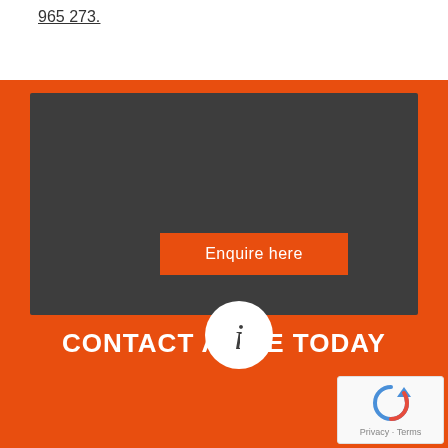965 273.
[Figure (infographic): Dark grey box with orange 'Enquire here' button and an information icon (white circle with 'i' symbol) below it, set on an orange background]
CONTACT ALINE TODAY
[Figure (logo): reCAPTCHA logo with Privacy and Terms text]